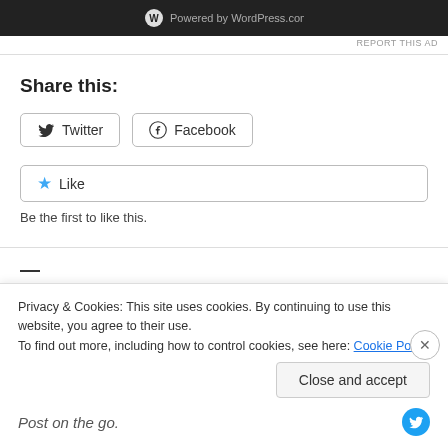[Figure (screenshot): Dark ad banner with WordPress.com logo text]
REPORT THIS AD
Share this:
[Figure (screenshot): Twitter share button with bird icon]
[Figure (screenshot): Facebook share button with Facebook icon]
[Figure (screenshot): Like button with star icon]
Be the first to like this.
Privacy & Cookies: This site uses cookies. By continuing to use this website, you agree to their use.
To find out more, including how to control cookies, see here: Cookie Policy
Close and accept
Post on the go.